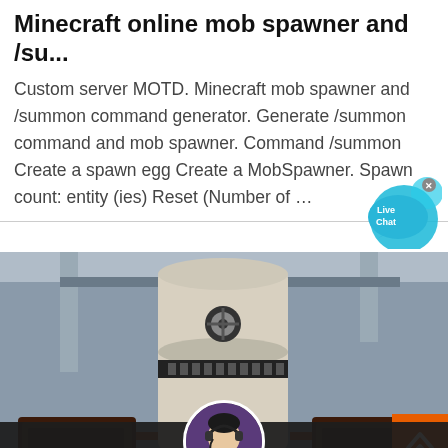Minecraft online mob spawner and /su...
Custom server MOTD. Minecraft mob spawner and /summon command generator. Generate /summon command and mob spawner. Command /summon Create a spawn egg Create a MobSpawner. Spawn count: entity (ies) Reset (Number of …
[Figure (photo): Industrial machine or mill equipment in a factory setting, large white cylindrical tower with belt drive and dark mechanical components on either side]
[Figure (other): Live Chat bubble widget — blue circular chat icon with 'Live Chat' text and a close X button]
Leave Message   Chat Online